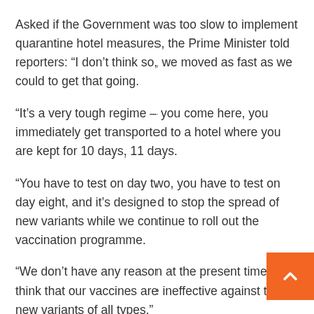Asked if the Government was too slow to implement quarantine hotel measures, the Prime Minister told reporters: “I don’t think so, we moved as fast as we could to get that going.
“It’s a very tough regime – you come here, you immediately get transported to a hotel where you are kept for 10 days, 11 days.
“You have to test on day two, you have to test on day eight, and it’s designed to stop the spread of new variants while we continue to roll out the vaccination programme.
“We don’t have any reason at the present time to think that our vaccines are ineffective against the new variants of all types.”